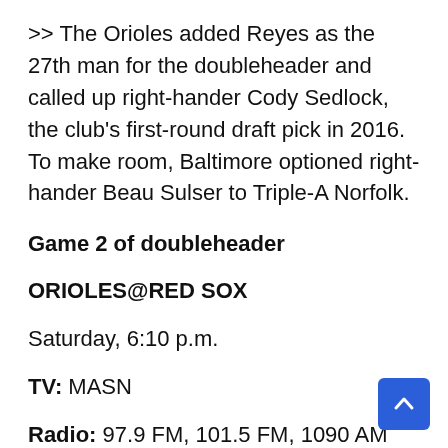>> The Orioles added Reyes as the 27th man for the doubleheader and called up right-hander Cody Sedlock, the club's first-round draft pick in 2016. To make room, Baltimore optioned right-hander Beau Sulser to Triple-A Norfolk.
Game 2 of doubleheader
ORIOLES@RED SOX
Saturday, 6:10 p.m.
TV: MASN
Radio: 97.9 FM, 101.5 FM, 1090 AM